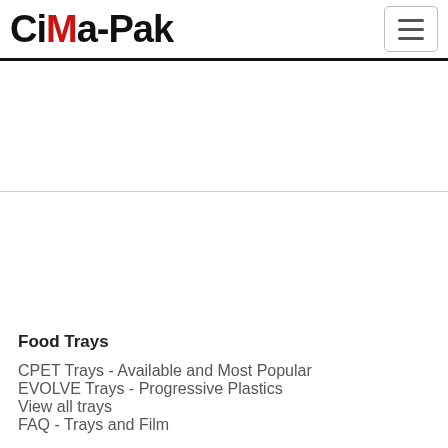CiMa-Pak
Food Trays
CPET Trays - Available and Most Popular
EVOLVE Trays - Progressive Plastics
View all trays
FAQ - Trays and Film